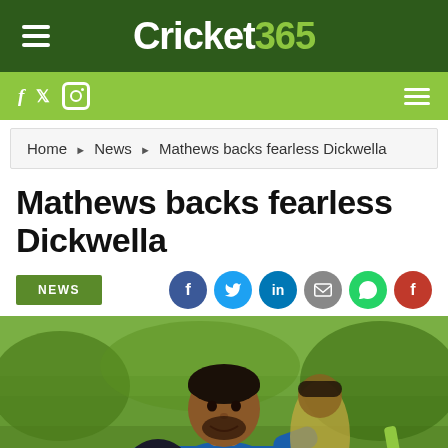Cricket365
Home ▶ News ▶ Mathews backs fearless Dickwella
Mathews backs fearless Dickwella
NEWS
[Figure (photo): Sri Lanka cricket player Niroshan Dickwella smiling in cricket gear with teammates in background, outdoor cricket ground]